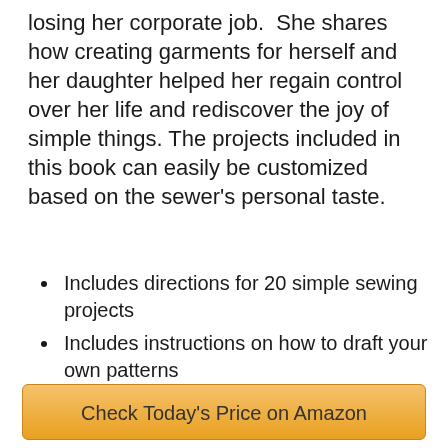losing her corporate job.  She shares how creating garments for herself and her daughter helped her regain control over her life and rediscover the joy of simple things. The projects included in this book can easily be customized based on the sewer's personal taste.
Includes directions for 20 simple sewing projects
Includes instructions on how to draft your own patterns
Provides guidance on fabric selection
Check Today's Price on Amazon